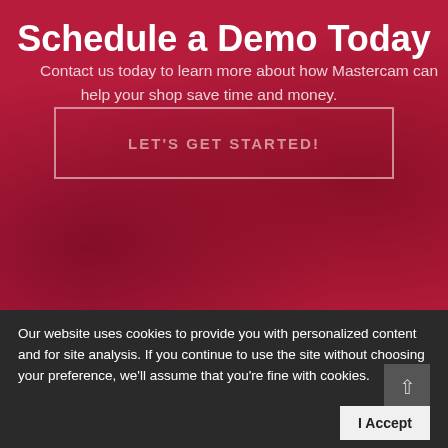Schedule a Demo Today
Contact us today to learn more about how Mastercam can help your shop save time and money.
LET'S GET STARTED!
Our website uses cookies to provide you with personalized content and for site analysis. If you continue to use the site without choosing your preference, we'll assume that you're fine with cookies.
I Accept